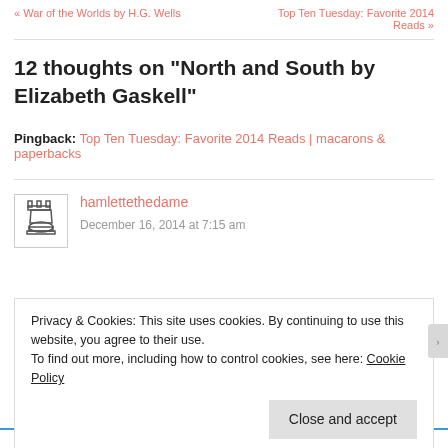« War of the Worlds by H.G. Wells   Top Ten Tuesday: Favorite 2014 Reads »
12 thoughts on “North and South by Elizabeth Gaskell”
Pingback: Top Ten Tuesday: Favorite 2014 Reads | macarons & paperbacks
hamlettethedame
December 16, 2014 at 7:15 am
Privacy & Cookies: This site uses cookies. By continuing to use this website, you agree to their use.
To find out more, including how to control cookies, see here: Cookie Policy
Close and accept